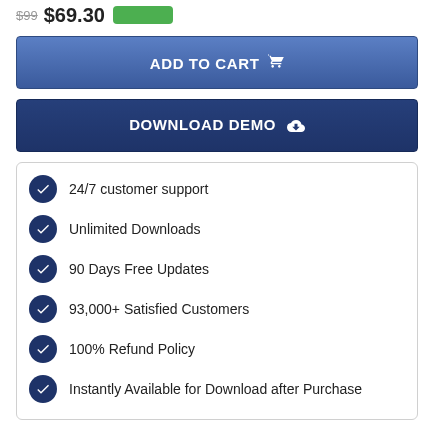$99 $69.30
ADD TO CART 🛒
DOWNLOAD DEMO ☁
24/7 customer support
Unlimited Downloads
90 Days Free Updates
93,000+ Satisfied Customers
100% Refund Policy
Instantly Available for Download after Purchase